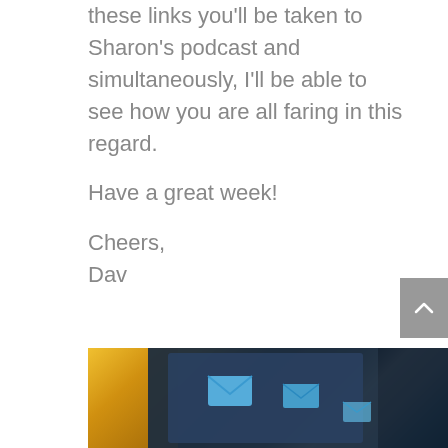When you click through any of these links you'll be taken to Sharon's podcast and simultaneously, I'll be able to see how you are all faring in this regard.

Have a great week!

Cheers,
Dav
[Figure (photo): Photo of a tablet/smartphone screen showing email envelope icons, with a warm golden bokeh background on the left and darker blue tones on the right. Blue envelope icons are visible on the screen.]